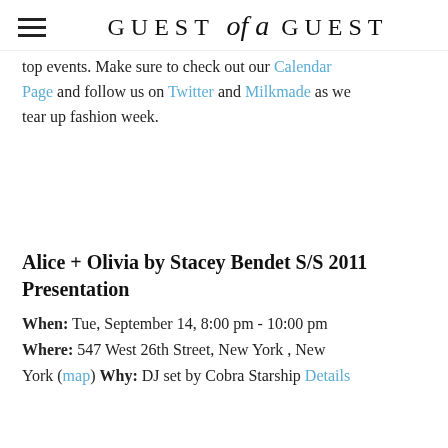GUEST of a GUEST
top events. Make sure to check out our Calendar Page and follow us on Twitter and Milkmade as we tear up fashion week.
Alice + Olivia by Stacey Bendet S/S 2011 Presentation
When: Tue, September 14, 8:00 pm - 10:00 pm Where: 547 West 26th Street, New York , New York (map) Why: DJ set by Cobra Starship Details